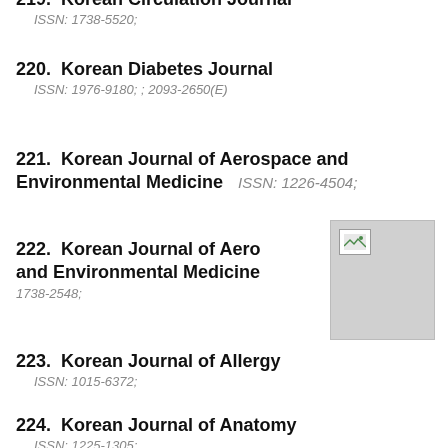219.  Korean Circulation Journal  ISSN: 1738-5520;
220.  Korean Diabetes Journal  ISSN: 1976-9180; ; 2093-2650(E)
221.  Korean Journal of Aerospace and Environmental Medicine  ISSN: 1226-4504;
222.  Korean Journal of Aerospace and Environmental Medicine  ISSN: 1738-2548;
[Figure (other): Broken image placeholder icon]
223.  Korean Journal of Allergy  ISSN: 1015-6372;
224.  Korean Journal of Anatomy  ISSN: 1225-1305;